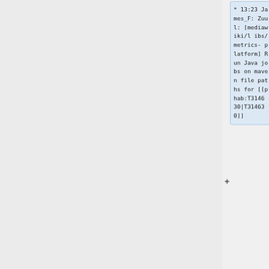* 13:23 James_F: Zuul: [mediawiki/libs/metrics-platform] Run Java jobs on maven file paths for [[phab:T314630|T314630]]
* 10:28 jnuche: Reloading Zuul to deploy https://gerrit.wikimedia.org/r/c/integration/con